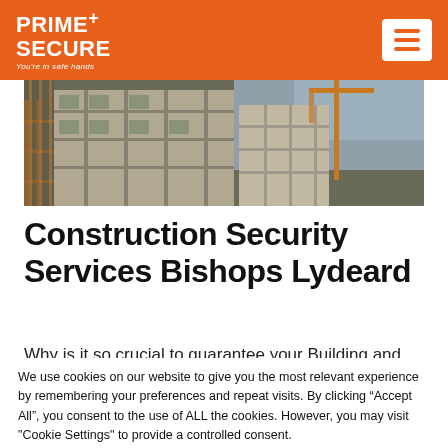PRIME+ SECURE — You're in safe hands
[Figure (photo): Construction site photo showing a multi-story building under construction with scaffolding, cranes, and an overcast sky]
Construction Security Services Bishops Lydeard
Why is it so crucial to guarantee your Building and
We use cookies on our website to give you the most relevant experience by remembering your preferences and repeat visits. By clicking “Accept All”, you consent to the use of ALL the cookies. However, you may visit "Cookie Settings" to provide a controlled consent.